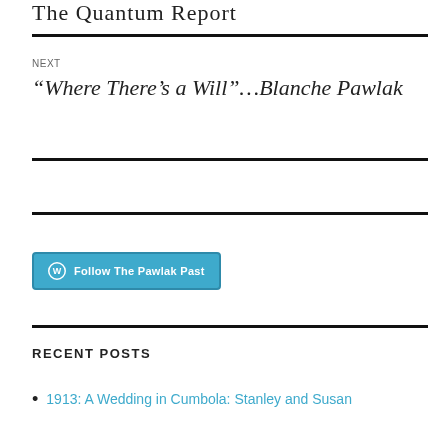The Quantum Report
NEXT
“Where There’s a Will”…Blanche Pawlak
[Figure (other): Follow The Pawlak Past WordPress follow button]
RECENT POSTS
1913: A Wedding in Cumbola: Stanley and Susan